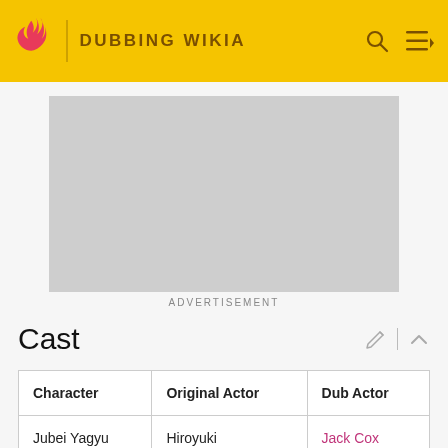DUBBING WIKIA
[Figure (other): Advertisement placeholder image (gray rectangle)]
ADVERTISEMENT
Cast
| Character | Original Actor | Dub Actor |
| --- | --- | --- |
| Jubei Yagyu | Hiroyuki Watanabe | Jack Cox |